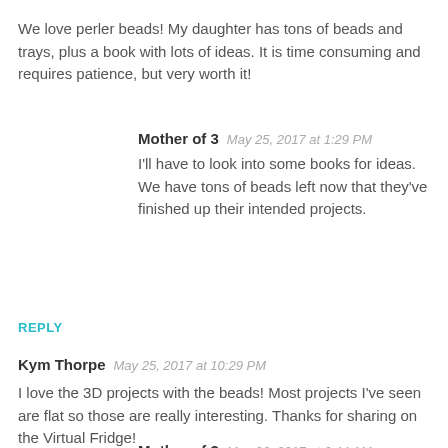We love perler beads! My daughter has tons of beads and trays, plus a book with lots of ideas. It is time consuming and requires patience, but very worth it!
Mother of 3   May 25, 2017 at 1:29 PM
I'll have to look into some books for ideas. We have tons of beads left now that they've finished up their intended projects.
REPLY
Kym Thorpe   May 25, 2017 at 10:29 PM
I love the 3D projects with the beads! Most projects I've seen are flat so those are really interesting. Thanks for sharing on the Virtual Fridge!
Mother of 3   May 26, 2017 at 6:44 AM
I thought that was pretty neat too! I loved that they had bases we could